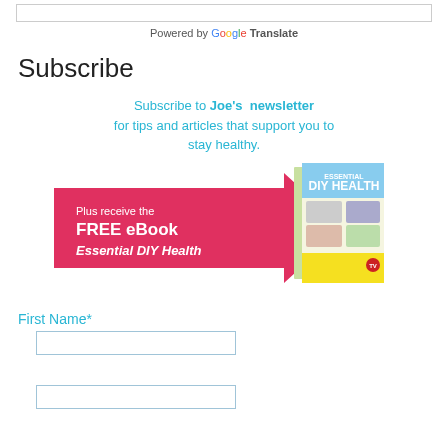Powered by Google Translate
Subscribe
Subscribe to Joe's newsletter for tips and articles that support you to stay healthy.
[Figure (illustration): Red arrow pointing right with text 'Plus receive the FREE eBook Essential DIY Health' and a book cover for 'Essential DIY Health' to the right]
First Name*
(input field)
(input field)